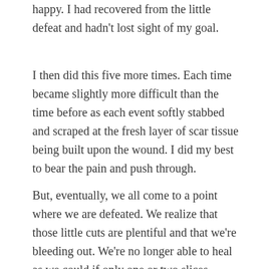happy. I had recovered from the little defeat and hadn't lost sight of my goal.
I then did this five more times. Each time became slightly more difficult than the time before as each event softly stabbed and scraped at the fresh layer of scar tissue being built upon the wound. I did my best to bear the pain and push through.
But, eventually, we all come to a point where we are defeated. We realize that those little cuts are plentiful and that we're bleeding out. We're no longer able to heal as we could if only one or two slices marked our skin…